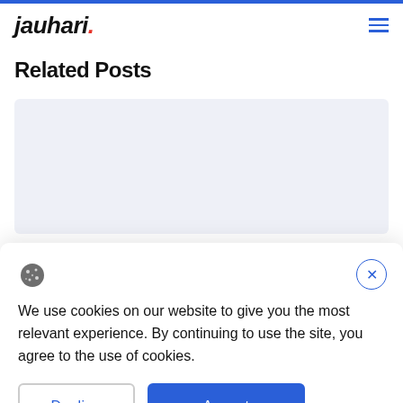jauhari.
Related Posts
[Figure (other): Light gray placeholder card area for related posts]
We use cookies on our website to give you the most relevant experience. By continuing to use the site, you agree to the use of cookies.
Decline  Accept
General